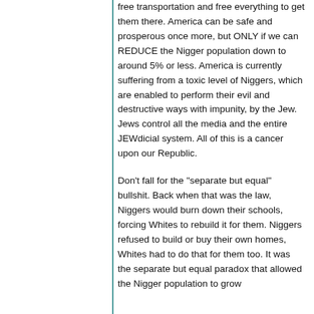free transportation and free everything to get them there. America can be safe and prosperous once more, but ONLY if we can REDUCE the Nigger population down to around 5% or less. America is currently suffering from a toxic level of Niggers, which are enabled to perform their evil and destructive ways with impunity, by the Jew. Jews control all the media and the entire JEWdicial system. All of this is a cancer upon our Republic.
Don't fall for the "separate but equal" bullshit. Back when that was the law, Niggers would burn down their schools, forcing Whites to rebuild it for them. Niggers refused to build or buy their own homes, Whites had to do that for them too. It was the separate but equal paradox that allowed the Nigger population to grow